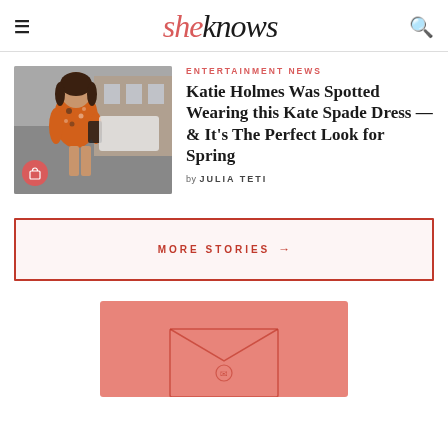sheknows
[Figure (photo): Katie Holmes wearing a floral orange dress with a black bag, street photo with shopping bag badge icon overlay]
ENTERTAINMENT NEWS
Katie Holmes Was Spotted Wearing this Kate Spade Dress — & It's The Perfect Look for Spring
by JULIA TETI
MORE STORIES →
[Figure (illustration): Pink background section with envelope illustration at bottom of page]